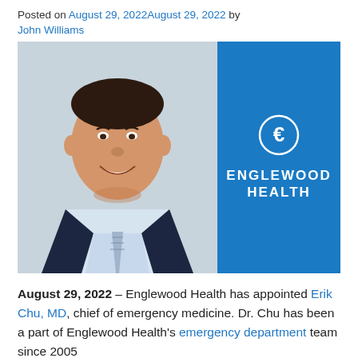Posted on August 29, 2022August 29, 2022 by John Williams
[Figure (photo): Composite image: left side shows a professional headshot of a smiling man (Dr. Erik Chu) in a dark suit and blue striped tie; right side shows the Englewood Health logo (white circle with 'E' monogram) on a blue background with text 'ENGLEWOOD HEALTH']
August 29, 2022 – Englewood Health has appointed Erik Chu, MD, chief of emergency medicine. Dr. Chu has been a part of Englewood Health's emergency department team since 2005